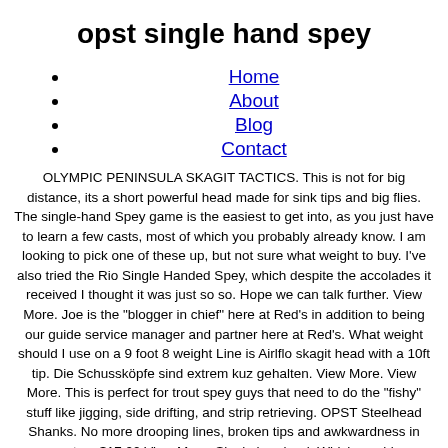opst single hand spey
Home
About
Blog
Contact
OLYMPIC PENINSULA SKAGIT TACTICS. This is not for big distance, its a short powerful head made for sink tips and big flies. The single-hand Spey game is the easiest to get into, as you just have to learn a few casts, most of which you probably already know. I am looking to pick one of these up, but not sure what weight to buy. I've also tried the Rio Single Handed Spey, which despite the accolades it received I thought it was just so so. Hope we can talk further. View More. Joe is the "blogger in chief" here at Red's in addition to being our guide service manager and partner here at Red's. What weight should I use on a 9 foot 8 weight Line is Airlflo skagit head with a 10ft tip. Die Schussköpfe sind extrem kuz gehalten. View More. View More. This is perfect for trout spey guys that need to do the "fishy" stuff like jigging, side drifting, and strip retrieving. OPST Steelhead Shanks. No more drooping lines, broken tips and awkwardness in your setup. $17.00 View More. Single hand rod. Which would you recommend? The short upper